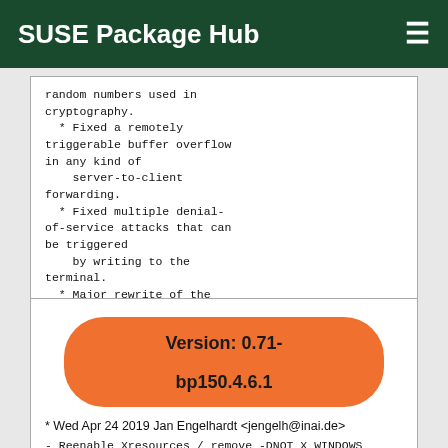SUSE Package Hub
random numbers used in cryptography.
  * Fixed a remotely triggerable buffer overflow in any kind of
      server-to-client forwarding.
  * Fixed multiple denial-of-service attacks that can be triggered
      by writing to the terminal.
  * Major rewrite of the crypto code to remove cache and timing
      side channels.
Version: 0.71-

bp150.4.6.1
* Wed Apr 24 2019 Jan Engelhardt <jengelh@inai.de>
        - Reenable Xresources / remove -DNOT_X_WINDOWS
        [boo#1133181],